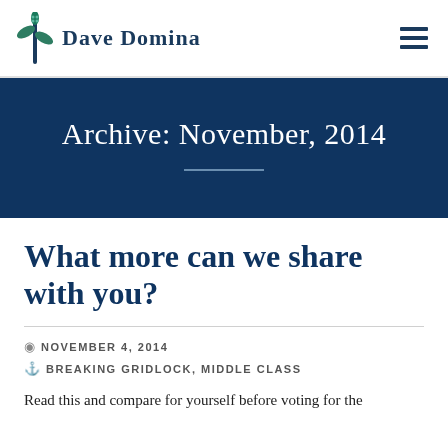Dave Domina
Archive: November, 2014
What more can we share with you?
NOVEMBER 4, 2014
BREAKING GRIDLOCK, MIDDLE CLASS
Read this and compare for yourself before voting for the